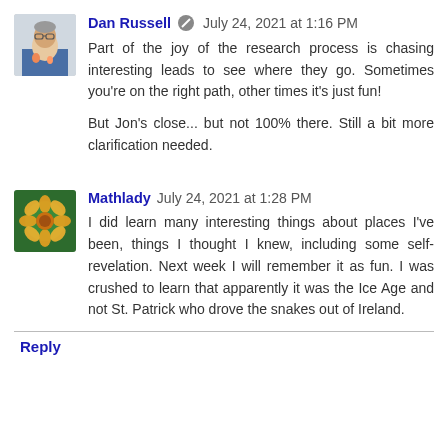Dan Russell  July 24, 2021 at 1:16 PM
Part of the joy of the research process is chasing interesting leads to see where they go. Sometimes you're on the right path, other times it's just fun!

But Jon's close... but not 100% there. Still a bit more clarification needed.
Mathlady  July 24, 2021 at 1:28 PM
I did learn many interesting things about places I've been, things I thought I knew, including some self-revelation. Next week I will remember it as fun. I was crushed to learn that apparently it was the Ice Age and not St. Patrick who drove the snakes out of Ireland.
Reply